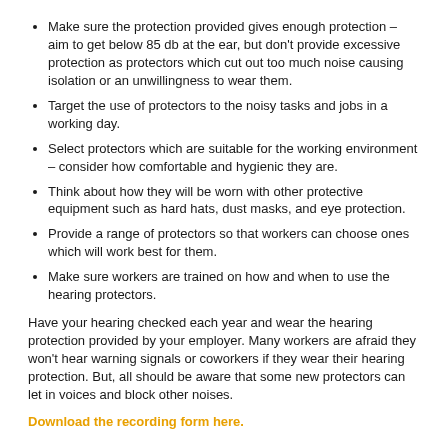Make sure the protection provided gives enough protection – aim to get below 85 db at the ear, but don't provide excessive protection as protectors which cut out too much noise causing isolation or an unwillingness to wear them.
Target the use of protectors to the noisy tasks and jobs in a working day.
Select protectors which are suitable for the working environment – consider how comfortable and hygienic they are.
Think about how they will be worn with other protective equipment such as hard hats, dust masks, and eye protection.
Provide a range of protectors so that workers can choose ones which will work best for them.
Make sure workers are trained on how and when to use the hearing protectors.
Have your hearing checked each year and wear the hearing protection provided by your employer. Many workers are afraid they won't hear warning signals or coworkers if they wear their hearing protection. But, all should be aware that some new protectors can let in voices and block other noises.
Download the recording form here.